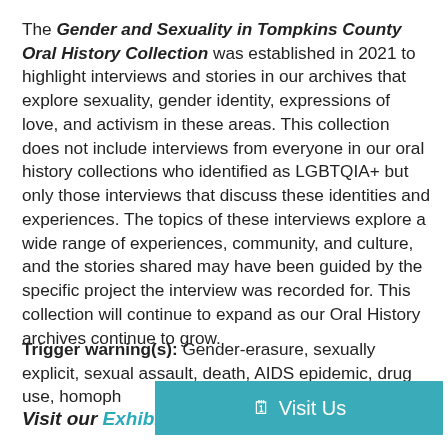The Gender and Sexuality in Tompkins County Oral History Collection was established in 2021 to highlight interviews and stories in our archives that explore sexuality, gender identity, expressions of love, and activism in these areas. This collection does not include interviews from everyone in our oral history collections who identified as LGBTQIA+ but only those interviews that discuss these identities and experiences. The topics of these interviews explore a wide range of experiences, community, and culture, and the stories shared may have been guided by the specific project the interview was recorded for. This collection will continue to expand as our Oral History archives continue to grow.
Trigger warning(s): Gender-erasure, sexually explicit, sexual assault, death, AIDS epidemic, drug use, homop[hobia]
[Figure (other): Teal/cyan button overlay with calendar icon and text 'Visit Us']
Visit our Exhibit Hall to hear oral history